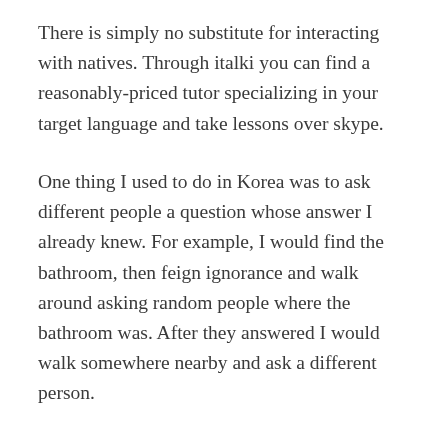There is simply no substitute for interacting with natives. Through italki you can find a reasonably-priced tutor specializing in your target language and take lessons over skype.
One thing I used to do in Korea was to ask different people a question whose answer I already knew. For example, I would find the bathroom, then feign ignorance and walk around asking random people where the bathroom was. After they answered I would walk somewhere nearby and ask a different person.